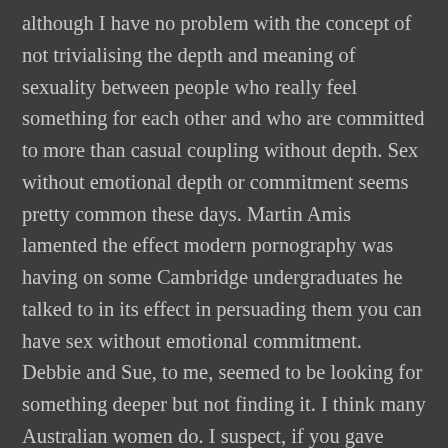although I have no problem with the concept of not trivialising the depth and meaning of sexuality between people who really feel something for each other and who are committed to more than casual coupling without depth. Sex without emotional depth or commitment seems pretty common these days. Martin Amis lamented the effect modern pornography was having on some Cambridge undergraduates he talked to in its effect in persuading them you can have sex without emotional commitment. Debbie and Sue, to me, seemed to be looking for something deeper but not finding it. I think many Australian women do. I suspect, if you gave them the choice of grown-up versions of the adolescent males in "Puberty Blues" or the likes of Mr D'Arcy, they'd take the latter. It's maturity, the ability